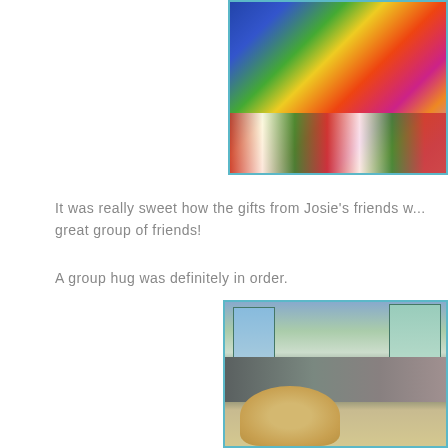[Figure (photo): Close-up photo of a colorful rainbow frosted cake with blue, green, yellow, red, and pink decorations, partially visible, with a striped background beneath]
It was really sweet how the gifts from Josie's friends w... great group of friends!
A group hug was definitely in order.
[Figure (photo): Indoor scene showing children hugging, with windows in background and a table, blonde hair visible at bottom]